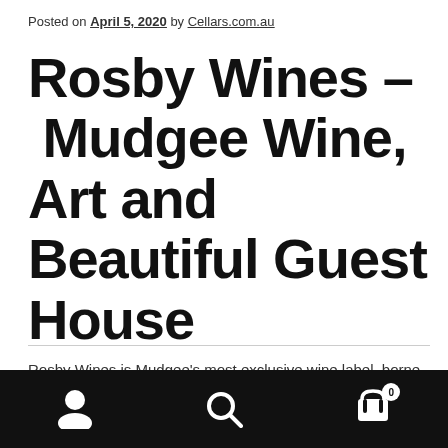Posted on April 5, 2020 by Cellars.com.au
Rosby Wines – Mudgee Wine, Art and Beautiful Guest House
Rosby Wines is Mudgee's most exclusive wine label, borne out of a lovingly tended block of 35-year-old cabernet sauvignon and shiraz grapes owned by the Norton-Knight family. Originally planted by vigneron Gerald Norton-Knight,